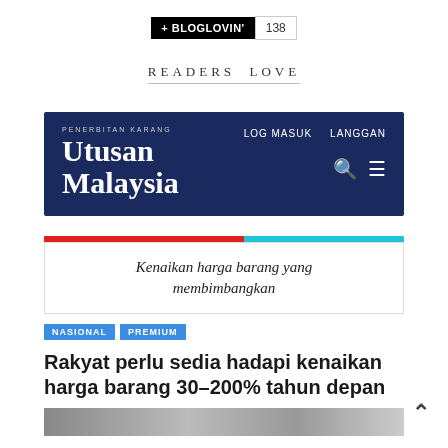[Figure (logo): Bloglovin follow button with count 138]
READERS LOVE
[Figure (screenshot): Utusan Malaysia website header screenshot showing logo, LOG MASUK and LANGGAN navigation links, search and hamburger menu icons on dark navy background]
[Figure (screenshot): Article preview showing colored bar, overlay text 'Kenaikan harga barang yang membimbangkan', NASIONAL and PREMIUM tags, and headline 'Rakyat perlu sedia hadapi kenaikan harga barang 30-200% tahun depan' with partial image below]